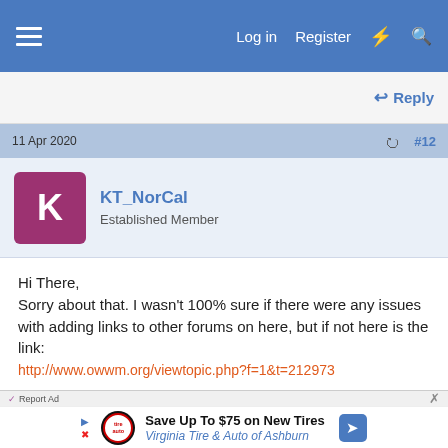≡  Log in  Register  ⚡ 🔍
↩ Reply
11 Apr 2020  ⯈  #12
KT_NorCal
Established Member
Hi There,
Sorry about that. I wasn't 100% sure if there were any issues with adding links to other forums on here, but if not here is the link:
http://www.owwm.org/viewtopic.php?f=1&t=212973

He is fabricating the full set up... just the older version non "parallelogram" style. His trunion wasn't drilled for it either so he had to go though that process as well
Report Ad
[Figure (infographic): Advertisement banner: Save Up To $75 on New Tires - Virginia Tire & Auto of Ashburn]